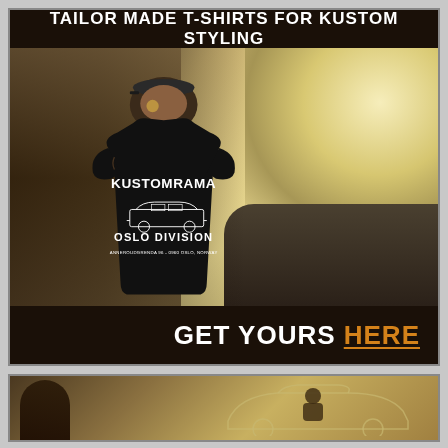TAILOR MADE T-SHIRTS FOR KUSTOM STYLING
[Figure (photo): Man wearing a black Kustomrama Oslo Division t-shirt, sitting inside a vintage car, viewed from behind. The t-shirt shows the Kustomrama Oslo Division logo with a classic car illustration and the address Anneroudgrenda 96 - 0960 Oslo, Norway.]
GET YOURS HERE
[Figure (photo): Partial view of a vintage car interior and exterior, bottom advertisement banner.]